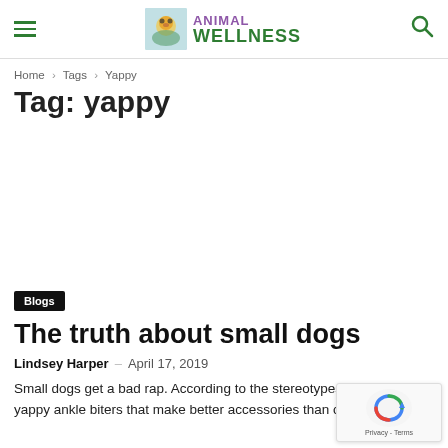Animal Wellness — site header with hamburger menu, logo, and search icon
Home › Tags › Yappy
Tag: yappy
Blogs
The truth about small dogs
Lindsey Harper  –  April 17, 2019
Small dogs get a bad rap. According to the stereotypes, they are yappy ankle biters that make better accessories than companions.